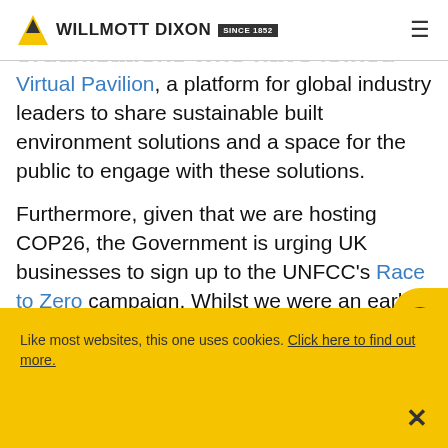Willmott Dixon — Since 1852
We are one of 100+ UK organisations who have joined forces to create a Built Environment Virtual Pavilion, a platform for global industry leaders to share sustainable built environment solutions and a space for the public to engage with these solutions.
Furthermore, given that we are hosting COP26, the Government is urging UK businesses to sign up to the UNFCC's Race to Zero campaign. Whilst we were an early signatory as part of our commitment to Science Based Targets,
Like most websites, this one uses cookies. Click here to find out more.